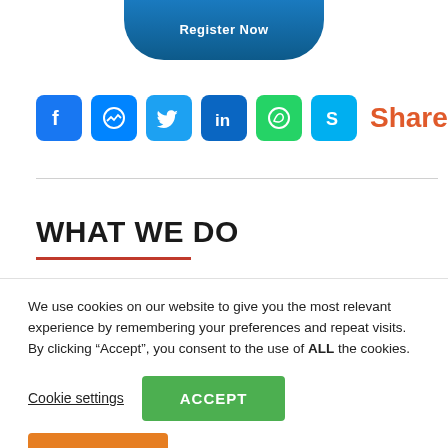[Figure (illustration): Cropped bottom portion of a blue rounded 'Register Now' button]
[Figure (infographic): Social media sharing icons row: Facebook (blue), Messenger (blue), Twitter (blue), LinkedIn (blue), WhatsApp (green), Skype (blue), followed by the word 'Share' in orange-red]
WHAT WE DO
We use cookies on our website to give you the most relevant experience by remembering your preferences and repeat visits. By clicking “Accept”, you consent to the use of ALL the cookies.
Cookie settings
ACCEPT
Translate »